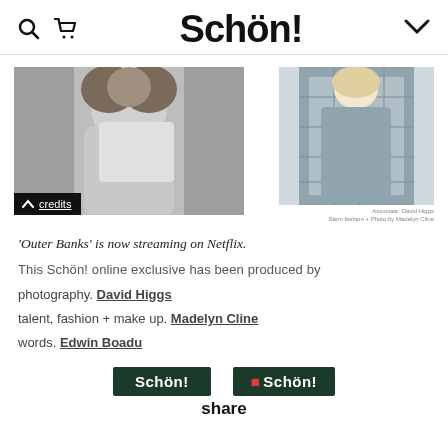Schön!
[Figure (photo): Black and white fashion photo of a woman in white clothing, arms raised]
[Figure (photo): Color fashion photo of a woman in a blue plaid suit]
'Outer Banks' is now streaming on Netflix.
This Schön! online exclusive has been produced by
photography. David Higgs
talent, fashion + make up. Madelyn Cline
words. Edwin Boadu
[Figure (logo): Schön! magazine logo badge (dark green background)]
[Figure (logo): Schön! magazine logo badge (dark green background, second instance)]
share